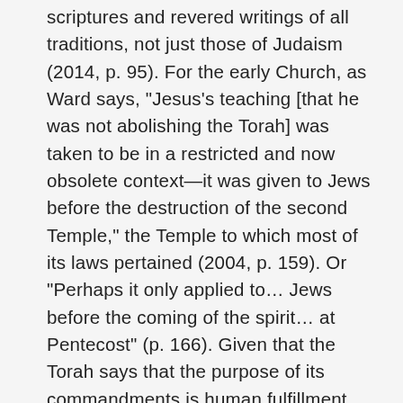scriptures and revered writings of all traditions, not just those of Judaism (2014, p. 95). For the early Church, as Ward says, "Jesus's teaching [that he was not abolishing the Torah] was taken to be in a restricted and now obsolete context—it was given to Jews before the destruction of the second Temple," the Temple to which most of its laws pertained (2004, p. 159). Or "Perhaps it only applied to… Jews before the coming of the spirit… at Pentecost" (p. 166). Given that the Torah says that the purpose of its commandments is human fulfillment (Deut. 10:13), Ward thinks that Jesus saying the Torah will remain "can be taken symbolically to express the belief that the will of God for human fulfillment… expressed in the… Torah… is unshakable, and will always demand our total commitment. But the command that we should actually keep all of the *rules* of the Torah is sublated [or abrogated] by statements like:" "'to love one's